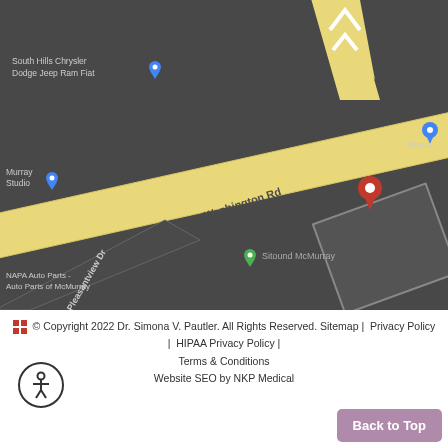[Figure (map): Google Maps screenshot showing Washington Rd and Pleasantview Dr intersection in McMurray area, with a red location pin marker. Nearby labels include South Hills Chrysler Dodge Jeep Ram Fiat, Murray Studio, Sitound McMurray, NAPA Auto Parts / Auto Parts of McMurray, and Borea (partial).]
© Copyright 2022 Dr. Simona V. Pautler. All Rights Reserved. Sitemap | Privacy Policy | HIPAA Privacy Policy | Terms & Conditions Website SEO by NKP Medical Back to Top